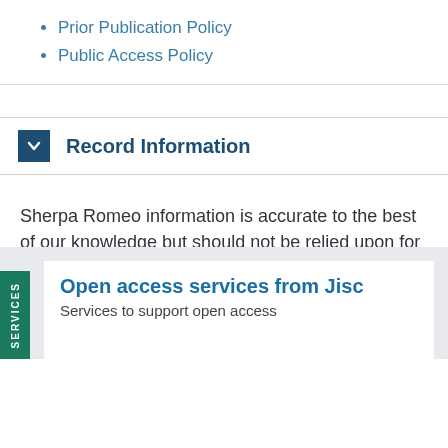Prior Publication Policy
Public Access Policy
Record Information
Sherpa Romeo information is accurate to the best of our knowledge but should not be relied upon for legal advice.
Suggest an update for this record
Open access services from Jisc
Services to support open access